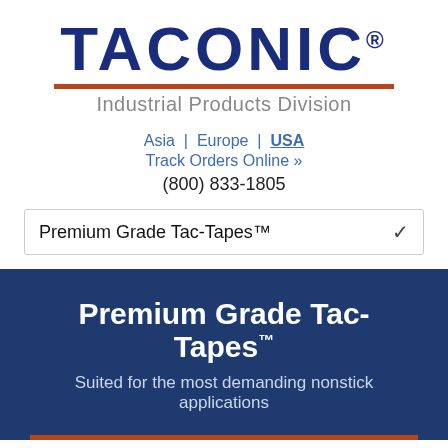[Figure (logo): Taconic Industrial Products Division logo with blue bold TACONIC text, red horizontal rule, and gray subtitle text]
Asia | Europe | USA
Track Orders Online »
(800) 833-1805
Premium Grade Tac-Tapes™
Premium Grade Tac-Tapes™
Suited for the most demanding nonstick applications
Premium Grade Tac-Tapes™ are suited for the most